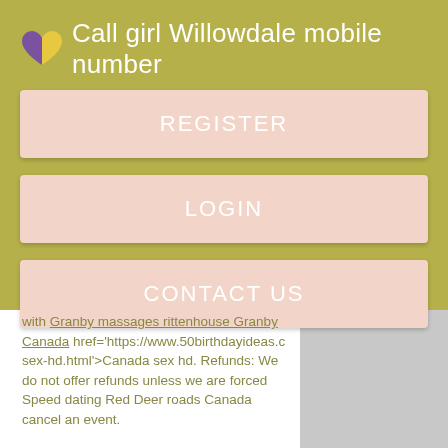Call girl Willowdale mobile number
REGISTER
LOGIN
CONTACT US
with Granby massages rittenhouse Granby Canada href='https://www.50birthdayideas.c sex-hd.html'>Canada sex hd. Refunds: We do not offer refunds unless we are forced Speed dating Red Deer roads Canada cancel an event.

Do you have any favorite